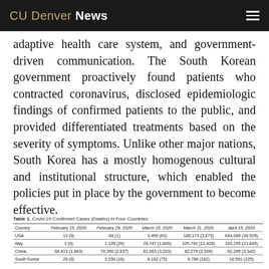CU Denver News
adaptive health care system, and government-driven communication. The South Korean government proactively found patients who contracted coronavirus, disclosed epidemiologic findings of confirmed patients to the public, and provided differentiated treatments based on the severity of symptoms. Unlike other major nations, South Korea has a mostly homogenous cultural and institutional structure, which enabled the policies put in place by the government to become effective.
Table 1. Covid-19 Confirmed Cases (Deaths) in Four Countries.
| Country | February 15, 2020 | February 29, 2020 | March 15, 2020 | March 31, 2020 | April 15, 2020 |
| --- | --- | --- | --- | --- | --- |
| USA | 13 (0) | 68 (1) | 3,499 (63) | 188,172 (3,873) | 644,089 (28,529) |
| Italy | 3 (0) | 1,128 (29) | 24,747 (1,809) | 105,792 (12,428) | 165,155 (21,645) |
| China | 68,413 (1,663) | 79,356 (2,837) | 81,003 (3,203) | 82,279 (3,309) | 82,295 (3,342) |
| South Korea | 28 (0) | 3,150 (16) | 8,162 (75) | 9,786 (162) | 10,591 (225) |